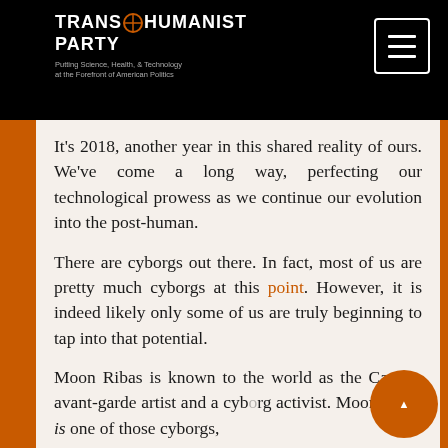TRANSHUMANIST PARTY — Putting Science, Health, & Technology at the Forefront of American Politics
It's 2018, another year in this shared reality of ours. We've come a long way, perfecting our technological prowess as we continue our evolution into the post-human.
There are cyborgs out there. In fact, most of us are pretty much cyborgs at this point. However, it is indeed likely only some of us are truly beginning to tap into that potential.
Moon Ribas is known to the world as the Catalan avant-garde artist and a cyborg activist. Moon Ribas is one of those cyborgs,